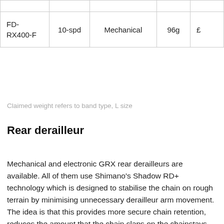|  |  |  |  |  |
| --- | --- | --- | --- | --- |
|  |  |  |  |  |
| FD-RX400-F | 10-spd | Mechanical | 96g | £ |
Claimed weight refers to band type, L size
Rear derailleur
Mechanical and electronic GRX rear derailleurs are available. All of them use Shimano's Shadow RD+ technology which is designed to stabilise the chain on rough terrain by minimising unnecessary derailleur arm movement. The idea is that this provides more secure chain retention, reduces the amount that the chain slaps on the chainstays, ensures a quieter ride, and results in an uninterrupted shifting performance.